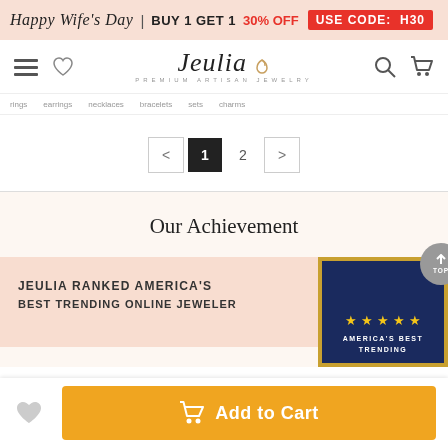Happy Wife's Day | BUY 1 GET 1 30% OFF USE CODE: H30
[Figure (logo): Jeulia Premium Artisan Jewelry logo with navigation icons (hamburger menu, heart, search, cart)]
Page navigation: < 1 2 >
Our Achievement
[Figure (infographic): Jeulia Ranked America's Best Trending Online Jeweler award plaque on blue background with gold stars and border]
Add to Cart